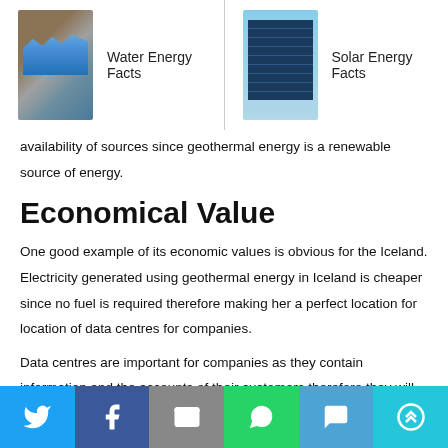Water Energy Facts | Solar Energy Facts
availability of sources since geothermal energy is a renewable source of energy.
Economical Value
One good example of its economic values is obvious for the Iceland. Electricity generated using geothermal energy in Iceland is cheaper since no fuel is required therefore making her a perfect location for location of data centres for companies.
Data centres are important for companies as they contain information and the accounts of their customers therefore they will require massive
Twitter | Facebook | Email | WhatsApp | SMS | More